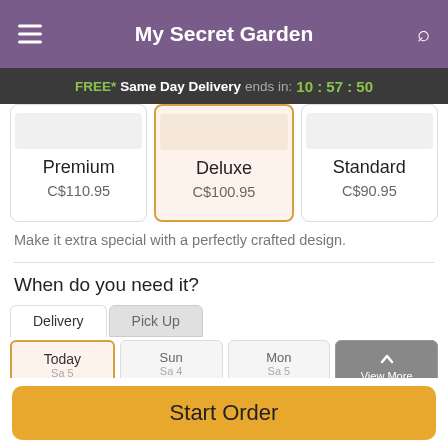My Secret Garden
FREE* Same Day Delivery ends in: 10:57:50
| Premium | Deluxe | Standard |
| --- | --- | --- |
| C$110.95 | C$100.95 | C$90.95 |
Make it extra special with a perfectly crafted design.
When do you need it?
Delivery	Pick Up
Today	Sun	Mon	View More
Start Order